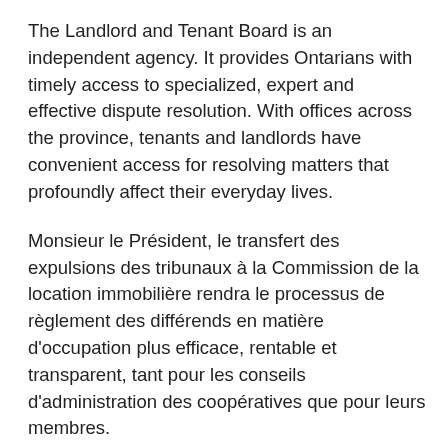The Landlord and Tenant Board is an independent agency. It provides Ontarians with timely access to specialized, expert and effective dispute resolution. With offices across the province, tenants and landlords have convenient access for resolving matters that profoundly affect their everyday lives.
Monsieur le Président, le transfert des expulsions des tribunaux à la Commission de la location immobilière rendra le processus de règlement des différends en matière d'occupation plus efficace, rentable et transparent, tant pour les conseils d'administration des coopératives que pour leurs membres.
If passed, this legislation would mean that co-op providers and members would have most of the same protections, benefits and responsibilities that are currently afforded to landlords and tenants facing tenure disputes under the Residential Tenancies Act. Evictions based on grounds